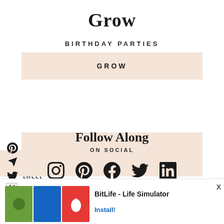Grow
BIRTHDAY PARTIES
GROW
[Figure (infographic): Follow Along on Social section with social media icons: Instagram, Pinterest, Facebook, Twitter, LinkedIn]
[Figure (infographic): Share panel with Pinterest pin it, share, and tweet options with icons]
[Figure (screenshot): Ad banner for BitLife - Life Simulator app with Install button]